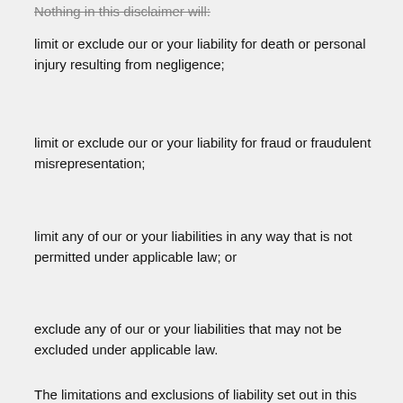limit or exclude our or your liability for death or personal injury resulting from negligence;
limit or exclude our or your liability for fraud or fraudulent misrepresentation;
limit any of our or your liabilities in any way that is not permitted under applicable law; or
exclude any of our or your liabilities that may not be excluded under applicable law.
The limitations and exclusions of liability set out in this Section and elsewhere in this disclaimer: (a) are subject to the preceding paragraph; and (b) govern all liabilities arising under the disclaimer